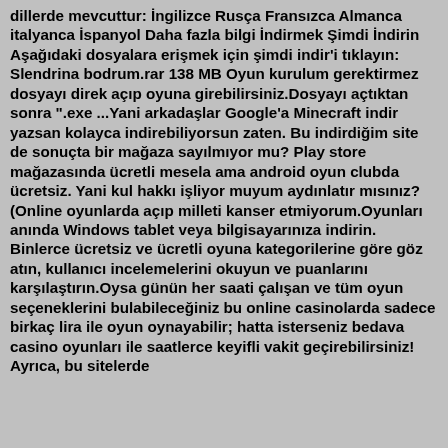dillerde mevcuttur: İngilizce Rusça Fransızca Almanca italyanca İspanyol Daha fazla bilgi İndirmek Şimdi İndirin Aşağıdaki dosyalara erişmek için şimdi indir'i tıklayın: Slendrina bodrum.rar 138 MB Oyun kurulum gerektirmez dosyayı direk açıp oyuna girebilirsiniz.Dosyayı açtıktan sonra ".exe ...Yani arkadaşlar Google'a Minecraft indir yazsan kolayca indirebiliyorsun zaten. Bu indirdiğim site de sonuçta bir mağaza sayılmıyor mu? Play store mağazasında ücretli mesela ama android oyun clubda ücretsiz. Yani kul hakkı işliyor muyum aydınlatır mısınız? (Online oyunlarda açıp milleti kanser etmiyorum.Oyunları anında Windows tablet veya bilgisayarınıza indirin. Binlerce ücretsiz ve ücretli oyuna kategorilerine göre göz atın, kullanıcı incelemelerini okuyun ve puanlarını karşılaştırın.Oysa günün her saati çalışan ve tüm oyun seçeneklerini bulabileceğiniz bu online casinolarda sadece birkaç lira ile oyun oynayabilir; hatta isterseniz bedava casino oyunları ile saatlerce keyifli vakit geçirebilirsiniz! Ayrıca, bu sitelerde